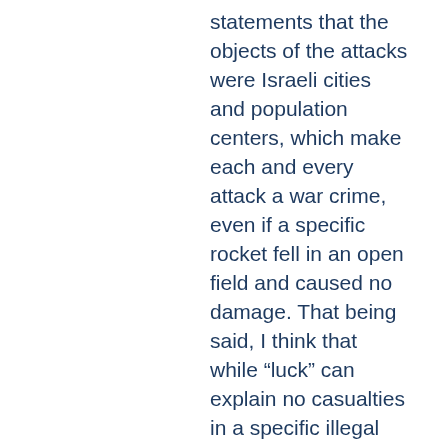statements that the objects of the attacks were Israeli cities and population centers, which make each and every attack a war crime, even if a specific rocket fell in an open field and caused no damage. That being said, I think that while “luck” can explain no casualties in a specific illegal attack, when we are talking of thousands of projectiles supposedly being fired, statistics does have some evidentiary weight, though not conclusive. In the case of Hamas rockets fired, a probable explanation for the low casualty rate is a combination of the inaccuracy of the rockets, Israeli advance warning systems and sirens, proper bomb shelters, general adherence of the Israeli civilian population to civil defense instructions, and last but not